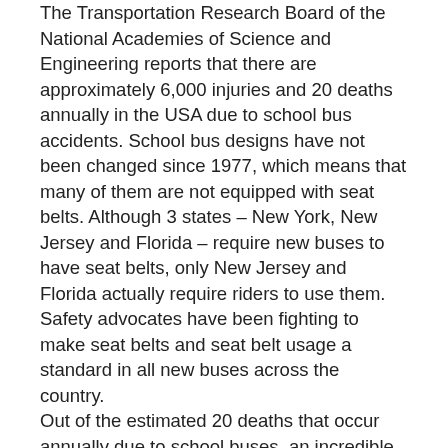The Transportation Research Board of the National Academies of Science and Engineering reports that there are approximately 6,000 injuries and 20 deaths annually in the USA due to school bus accidents. School bus designs have not been changed since 1977, which means that many of them are not equipped with seat belts. Although 3 states – New York, New Jersey and Florida – require new buses to have seat belts, only New Jersey and Florida actually require riders to use them. Safety advocates have been fighting to make seat belts and seat belt usage a standard in all new buses across the country.
Out of the estimated 20 deaths that occur annually due to school buses, an incredible 15 of them are due to children being run over by the buses in the process of boarding or exit them. Safety laws have been implemented in all states to remedy this problem, but pedestrian accidents still remain.
The issues surrounding school bus accidents can become quite complicated. Personal Injury Lawyers / Accident Attorneys who have experience with liability laws can be very helpful in sorting out the legal matters